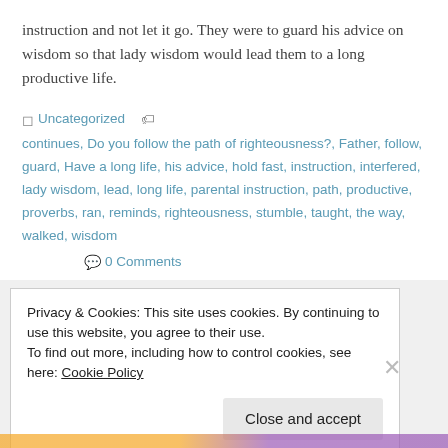instruction and not let it go. They were to guard his advice on wisdom so that lady wisdom would lead them to a long productive life.
Uncategorized   continues, Do you follow the path of righteousness?, Father, follow, guard, Have a long life, his advice, hold fast, instruction, interfered, lady wisdom, lead, long life, parental instruction, path, productive, proverbs, ran, reminds, righteousness, stumble, taught, the way, walked, wisdom   0 Comments
Privacy & Cookies: This site uses cookies. By continuing to use this website, you agree to their use.
To find out more, including how to control cookies, see here: Cookie Policy

Close and accept